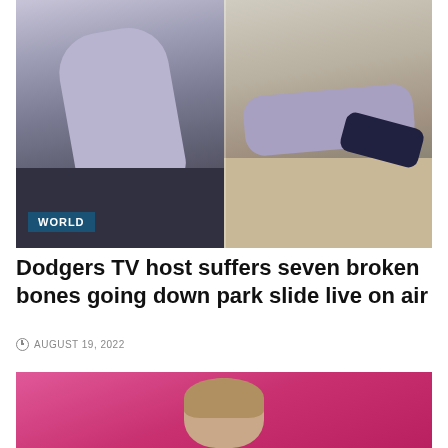[Figure (photo): Split two-panel photo showing a person in a gray hoodie on a slide on the left and the same or similar person lying on the ground on the right. A 'WORLD' badge appears in the bottom-left corner of the image.]
Dodgers TV host suffers seven broken bones going down park slide live on air
AUGUST 19, 2022
[Figure (photo): Partial photo showing a person's head against a pink/magenta background, cropped at the bottom of the page.]